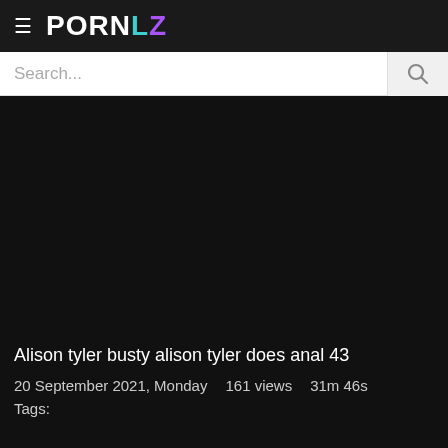PORNLZ
Search...
[Figure (other): Black video player area]
Alison tyler busty alison tyler does anal 43
20 September 2021, Monday   161 views   31m 46s
Tags: